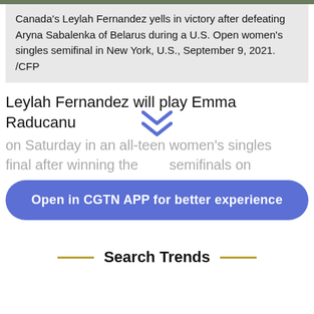Canada's Leylah Fernandez yells in victory after defeating Aryna Sabalenka of Belarus during a U.S. Open women's singles semifinal in New York, U.S., September 9, 2021. /CFP
Leylah Fernandez will play Emma Raducanu
on Saturday in an all-teen women's singles final after winning the semifinals on
Open in CGTN APP for better experience
Search Trends